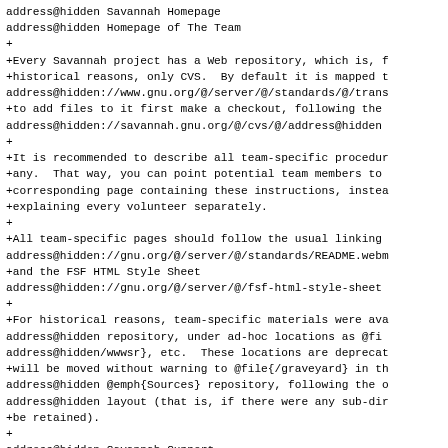address@hidden Savannah Homepage
address@hidden Homepage of The Team
+
+Every Savannah project has a Web repository, which is, f
+historical reasons, only CVS.  By default it is mapped t
address@hidden://www.gnu.org/@/server/@/standards/@/trans
+to add files to it first make a checkout, following the
address@hidden://savannah.gnu.org/@/cvs/@/address@hidden
+
+It is recommended to describe all team-specific procedur
+any.  That way, you can point potential team members to
+corresponding page containing these instructions, instea
+explaining every volunteer separately.
+
+All team-specific pages should follow the usual linking
address@hidden://gnu.org/@/server/@/standards/README.webm
+and the FSF HTML Style Sheet
address@hidden://gnu.org/@/server/@/fsf-html-style-sheet
+
+For historical reasons, team-specific materials were ava
address@hidden repository, under ad-hoc locations as @fi
address@hidden/wwwsr}, etc.  These locations are deprecat
+will be moved without warning to @file{/graveyard} in th
address@hidden @emph{Sources} repository, following the o
address@hidden layout (that is, if there were any sub-dir
+be retained).
+
address@hidden Savannah Support
address@hidden Support Tracker
+
+This tracker is supposed to be related to things about t